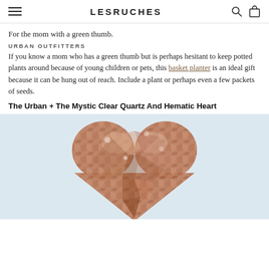LESRUCHES
For the mom with a green thumb.
URBAN OUTFITTERS
If you know a mom who has a green thumb but is perhaps hesitant to keep potted plants around because of young children or pets, this basket planter is an ideal gift because it can be hung out of reach. Include a plant or perhaps even a few packets of seeds.
The Urban + The Mystic Clear Quartz And Hematic Heart
[Figure (photo): A heart-shaped clear quartz and hematite crystal stone with a rough, sparkly surface in brown and pink tones, photographed against a light blue-white background.]